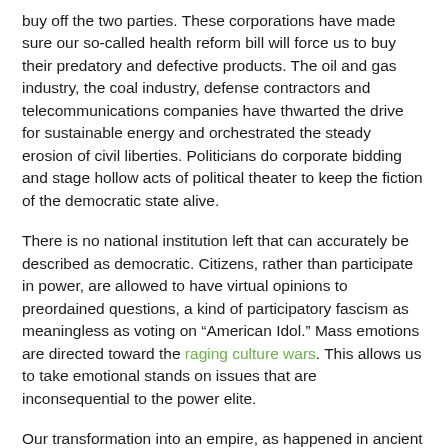buy off the two parties. These corporations have made sure our so-called health reform bill will force us to buy their predatory and defective products. The oil and gas industry, the coal industry, defense contractors and telecommunications companies have thwarted the drive for sustainable energy and orchestrated the steady erosion of civil liberties. Politicians do corporate bidding and stage hollow acts of political theater to keep the fiction of the democratic state alive.
There is no national institution left that can accurately be described as democratic. Citizens, rather than participate in power, are allowed to have virtual opinions to preordained questions, a kind of participatory fascism as meaningless as voting on “American Idol.” Mass emotions are directed toward the raging culture wars. This allows us to take emotional stands on issues that are inconsequential to the power elite.
Our transformation into an empire, as happened in ancient